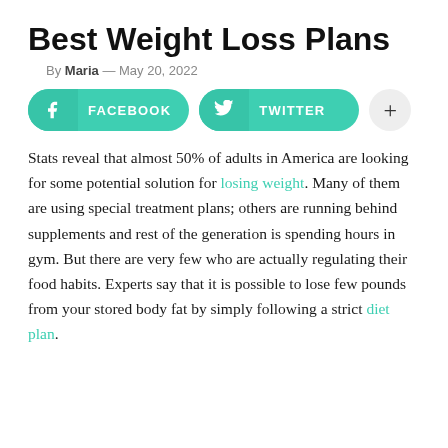Best Weight Loss Plans
By Maria — May 20, 2022
[Figure (infographic): Social share buttons: Facebook, Twitter, and a plus button]
Stats reveal that almost 50% of adults in America are looking for some potential solution for losing weight. Many of them are using special treatment plans; others are running behind supplements and rest of the generation is spending hours in gym. But there are very few who are actually regulating their food habits. Experts say that it is possible to lose few pounds from your stored body fat by simply following a strict diet plan.